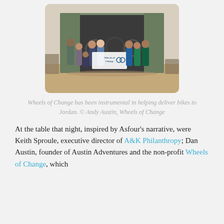[Figure (photo): Group of people standing in front of an open shipping container holding a 'Wheels of Change International' banner, in a desert/arid setting.]
Wheels of Change has been instrumental in helping deliver bikes to Jordan. © Andy Austin, Wheels of Change
At the table that night, inspired by Asfour's narrative, were Keith Sproule, executive director of A&K Philanthropy; Dan Austin, founder of Austin Adventures and the non-profit Wheels of Change, which